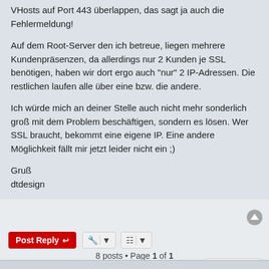VHosts auf Port 443 überlappen, das sagt ja auch die Fehlermeldung!
Auf dem Root-Server den ich betreue, liegen mehrere Kundenpräsenzen, da allerdings nur 2 Kunden je SSL benötigen, haben wir dort ergo auch "nur" 2 IP-Adressen. Die restlichen laufen alle über eine bzw. die andere.
Ich würde mich an deiner Stelle auch nicht mehr sonderlich groß mit dem Problem beschäftigen, sondern es lösen. Wer SSL braucht, bekommt eine eigene IP. Eine andere Möglichkeit fällt mir jetzt leider nicht ein ;)
Gruß
dtdesign
8 posts • Page 1 of 1